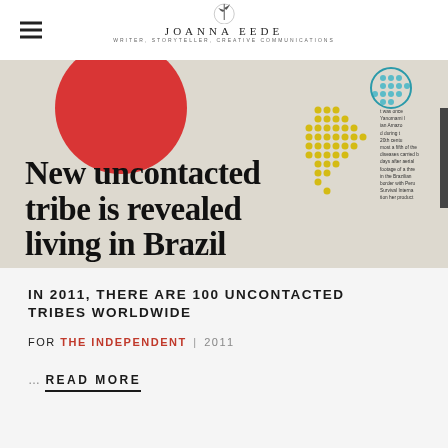JOANNA EEDE — WRITER, STORYTELLER, CREATIVE COMMUNICATIONS
[Figure (photo): Newspaper page showing headline 'New uncontacted tribe is revealed living in Brazil' with a red circle graphic, dot map of South America, and article text column on the right.]
IN 2011, THERE ARE 100 UNCONTACTED TRIBES WORLDWIDE
FOR THE INDEPENDENT | 2011
...
READ MORE